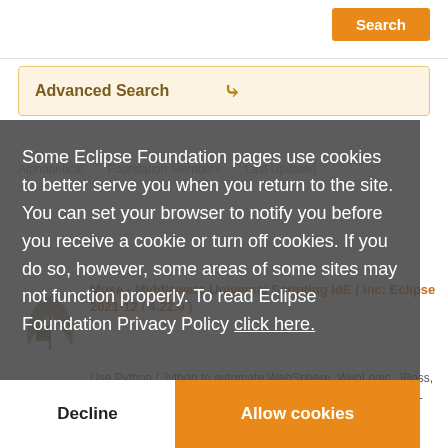Search
Advanced Search
Alphabetical   Foundation Members   Last Updated
Muse - Middleware Universal Scripting idE ( inc: Eclipse 2021-12 / 4.22.0 )
Use Python / Jython to automate WebSphere, WebLogic, JBoss, Glassfish and Tomcat Middleware Estates over JMX, both SSL and non
Some Eclipse Foundation pages use cookies to better serve you when you return to the site. You can set your browser to notify you before you receive a cookie or turn off cookies. If you do so, however, some areas of some sites may not function properly. To read Eclipse Foundation Privacy Policy click here.
Decline
Allow cookies